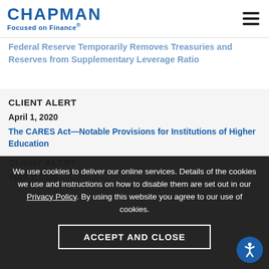CHAPMAN Focused on Finance®
CLIENT ALERT
April 2, 2020
Federal Reserve Temporarily Removes Treasuries and Reserves from Supplementary Leverage Ratio
CLIENT ALERT
April 1, 2020
The CARES Act—Notable Provisions for Institutions of Higher Education
CLIENT ALERT
April 1, 2020
The Impact of COVID-19 on Newly Scheduled Court Hearings
We use cookies to deliver our online services. Details of the cookies we use and instructions on how to disable them are set out in our Privacy Policy. By using this website you agree to our use of cookies.
ACCEPT AND CLOSE